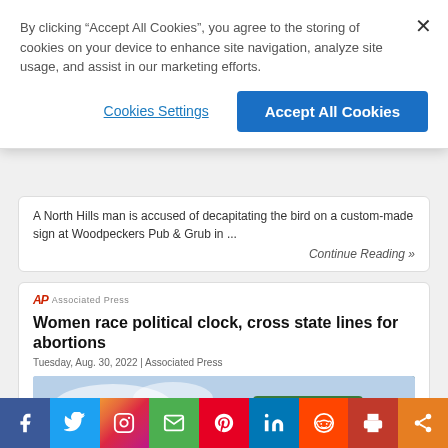By clicking “Accept All Cookies”, you agree to the storing of cookies on your device to enhance site navigation, analyze site usage, and assist in our marketing efforts.
Cookies Settings
Accept All Cookies
A North Hills man is accused of decapitating the bird on a custom-made sign at Woodpeckers Pub & Grub in ...
Continue Reading »
[Figure (logo): AP Associated Press logo]
Women race political clock, cross state lines for abortions
Tuesday, Aug. 30, 2022 | Associated Press
[Figure (photo): Photo of Ohio State Line green road sign against sky and trees background]